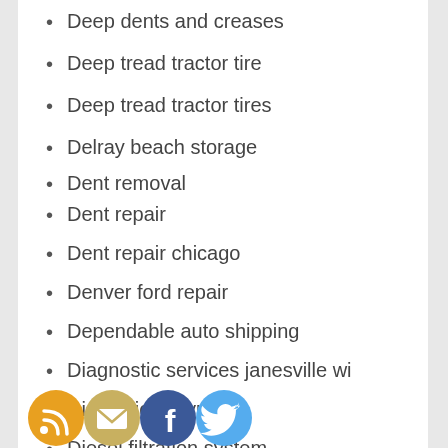Deep dents and creases
Deep tread tractor tire
Deep tread tractor tires
Delray beach storage
Dent removal
Dent repair
Dent repair chicago
Denver ford repair
Dependable auto shipping
Diagnostic services janesville wi
Dielectric oil type 2
Diesel filtration system
[Figure (infographic): Social media share icons: RSS (orange), Email (tan/gold), Facebook (blue), Twitter (light blue), displayed as a horizontal row of circular icons overlaid on the list]